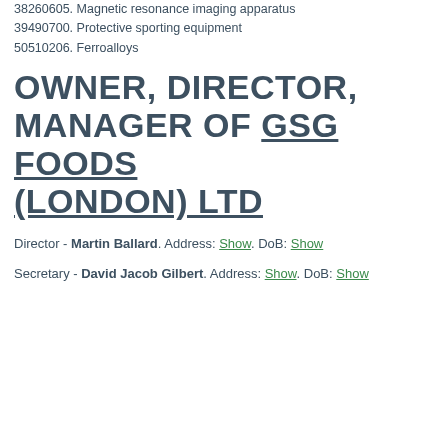38260605. Magnetic resonance imaging apparatus
39490700. Protective sporting equipment
50510206. Ferroalloys
OWNER, DIRECTOR, MANAGER OF GSG FOODS (LONDON) LTD
Director - Martin Ballard. Address: Show. DoB: Show
Secretary - David Jacob Gilbert. Address: Show. DoB: Show